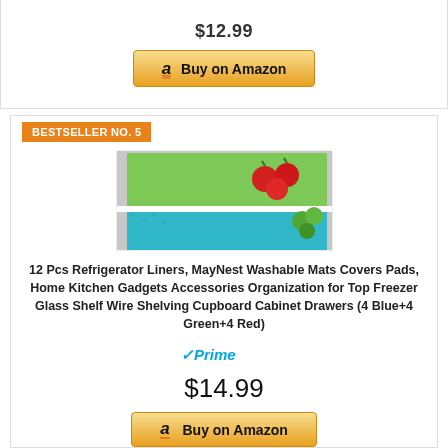$12.99
[Figure (other): Buy on Amazon button - golden gradient button with Amazon 'a' logo]
BESTSELLER NO. 5
[Figure (photo): Refrigerator interior showing colorful liners/mats in blue, green, and red colors on shelves with vegetables and a bottle]
12 Pcs Refrigerator Liners, MayNest Washable Mats Covers Pads, Home Kitchen Gadgets Accessories Organization for Top Freezer Glass Shelf Wire Shelving Cupboard Cabinet Drawers (4 Blue+4 Green+4 Red)
[Figure (logo): Amazon Prime badge - blue checkmark with italic Prime text]
$14.99
[Figure (other): Buy on Amazon button - golden gradient button with Amazon 'a' logo]